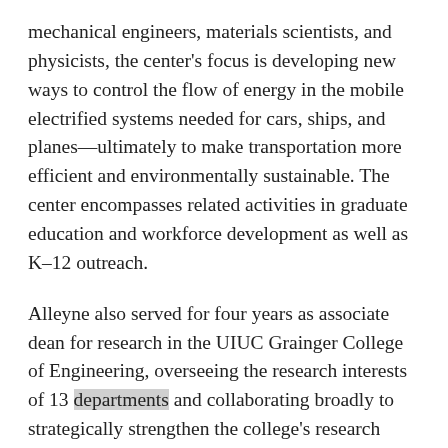mechanical engineers, materials scientists, and physicists, the center's focus is developing new ways to control the flow of energy in the mobile electrified systems needed for cars, ships, and planes—ultimately to make transportation more efficient and environmentally sustainable. The center encompasses related activities in graduate education and workforce development as well as K–12 outreach.
Alleyne also served for four years as associate dean for research in the UIUC Grainger College of Engineering, overseeing the research interests of 13 departments and collaborating broadly to strategically strengthen the college's research portfolio, including leading the development of new cross-college research centers and a translational research institute. He served a term as associate department head for the Department of